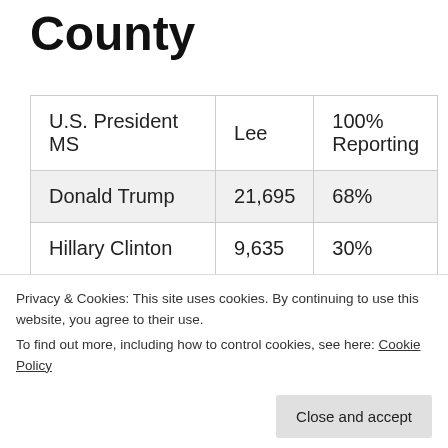County
| U.S. President MS | Lee | 100% Reporting |
| --- | --- | --- |
| Donald Trump | 21,695 | 68% |
| Hillary Clinton | 9,635 | 30% |
| Gary Johnson | 390 | 1% |
Privacy & Cookies: This site uses cookies. By continuing to use this website, you agree to their use.
To find out more, including how to control cookies, see here: Cookie Policy
Close and accept